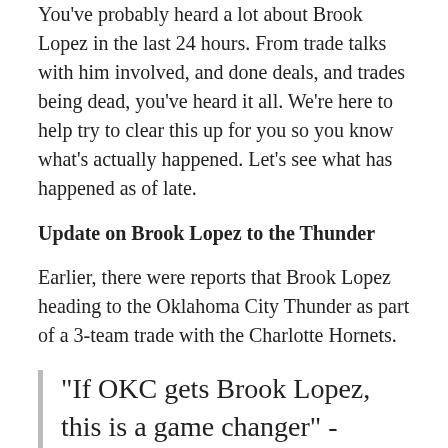You've probably heard a lot about Brook Lopez in the last 24 hours. From trade talks with him involved, and done deals, and trades being dead, you've heard it all. We're here to help try to clear this up for you so you know what's actually happened. Let's see what has happened as of late.
Update on Brook Lopez to the Thunder
Earlier, there were reports that Brook Lopez heading to the Oklahoma City Thunder as part of a 3-team trade with the Charlotte Hornets.
"If OKC gets Brook Lopez, this is a game changer" -Chuck on this potential trade pic.twitter.com/33wqixkmFK